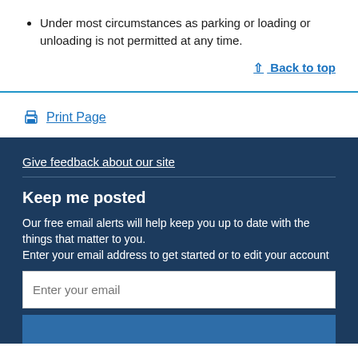Under most circumstances as parking or loading or unloading is not permitted at any time.
↑ Back to top
Print Page
Give feedback about our site
Keep me posted
Our free email alerts will help keep you up to date with the things that matter to you. Enter your email address to get started or to edit your account